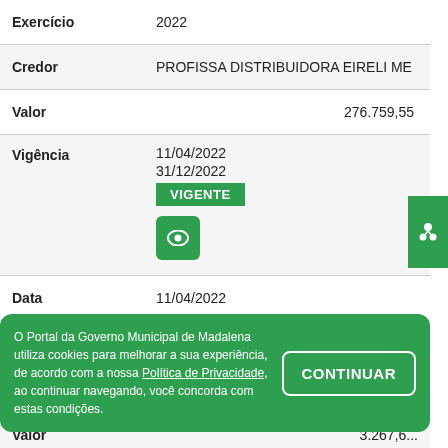| Campo | Valor |
| --- | --- |
| Exercício | 2022 |
| Credor | PROFISSA DISTRIBUIDORA EIRELI ME |
| Valor | 276.759,55 |
| Vigência | 11/04/2022
31/12/2022
VIGENTE |
| Data | 11/04/2022 |
| tipo | CONTRATO ORIGINAL |
| Número | 1104.03/2022 - ADM |
| Valor | 3.267,6... |
O Portal da Governo Municipal de Madalena utiliza cookies para melhorar a sua experiência, de acordo com a nossa Política de Privacidade, ao continuar navegando, você concorda com estas condições.